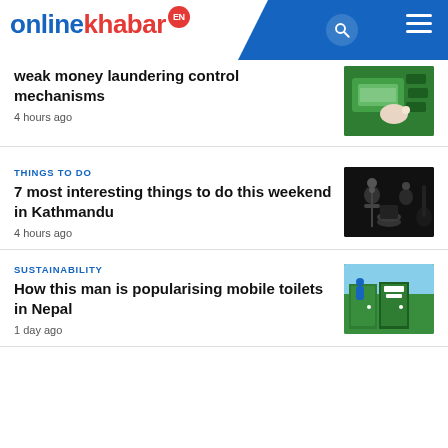onlinekhabar EN
weak money laundering control mechanisms
4 hours ago
THINGS TO DO
7 most interesting things to do this weekend in Kathmandu
4 hours ago
SUSTAINABILITY
How this man is popularising mobile toilets in Nepal
1 day ago